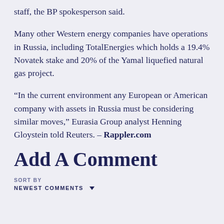staff, the BP spokesperson said.
Many other Western energy companies have operations in Russia, including TotalEnergies which holds a 19.4% Novatek stake and 20% of the Yamal liquefied natural gas project.
“In the current environment any European or American company with assets in Russia must be considering similar moves,” Eurasia Group analyst Henning Gloystein told Reuters. – Rappler.com
Add A Comment
SORT BY
NEWEST COMMENTS